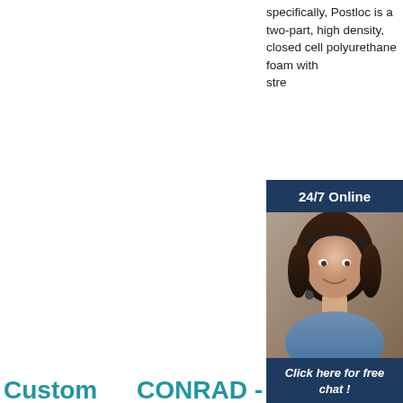specifically, Postloc is a two-part, high density, closed cell polyurethane foam with str...
[Figure (screenshot): 24/7 Online customer service chat popup with woman wearing headset, dark navy background, orange QUOTATION button and 'Click here for free chat!' text]
[Figure (photo): Industrial pump equipment product image with MS CNGS H79 logo, CE and HA certification badges]
[Figure (photo): Mini excavator product image with MS CNGS H79 logo, CE and HA certification badges]
[Figure (photo): Wheeled construction equipment product image with MS CNGS logo, CE and HA certification badges, TOP badge overlay]
Custom
CONRAD -
Free